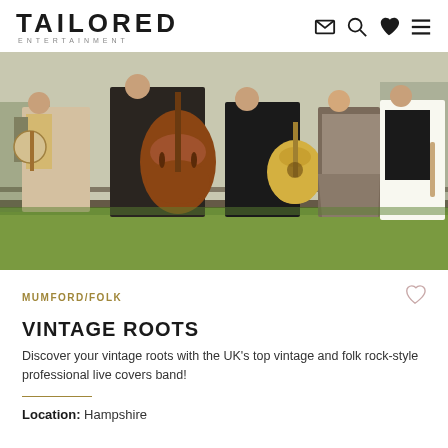TAILORED ENTERTAINMENT
[Figure (photo): Five musicians standing outdoors holding instruments including banjo, double bass, acoustic guitar, and flute, against a fence with grass background]
MUMFORD/FOLK
VINTAGE ROOTS
Discover your vintage roots with the UK's top vintage and folk rock-style professional live covers band!
Location: Hampshire